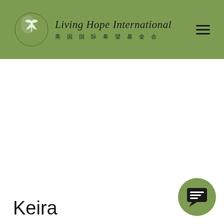Living Hope International 美国国际希望基金会
Keira